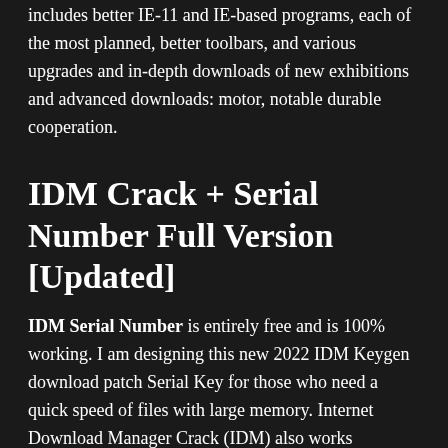includes better IE-11 and IE-based programs, each of the most planned, better toolbars, and various upgrades and in-depth downloads of new exhibitions and advanced downloads: motor, notable durable cooperation.
IDM Crack + Serial Number Full Version [Updated]
IDM Serial Number is entirely free and is 100% working. I am designing this new 2022 IDM Keygen download patch Serial Key for those who need a quick speed of files with large memory. Internet Download Manager Crack (IDM) also works correctly in the wrong network connection, together with a record, resumes capabilities for multiple data, and multipart files together in a folder.
IDM Crack 100% Work Download Distributor